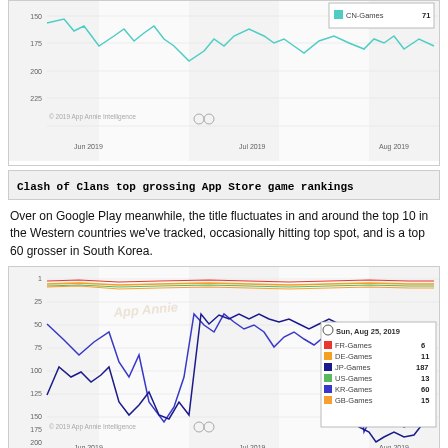[Figure (line-chart): Partial line chart showing CN-Games ranking around 71 on App Store, Jun-Aug 2019, y-axis 150-225]
Clash of Clans top grossing App Store game rankings
Over on Google Play meanwhile, the title fluctuates in and around the top 10 in the Western countries we've tracked, occasionally hitting top spot, and is a top 60 grosser in South Korea.
[Figure (line-chart): Line chart showing Google Play rankings Jun-Aug 2019. FR-Games: 6, DE-Games: 11, JP-Games: 187, US-Games: 13, KR-Games: 60, GB-Games: 15. Tooltip date: Sun, Aug 25, 2019.]
Clash of Clans top grossing Google Play game rankings